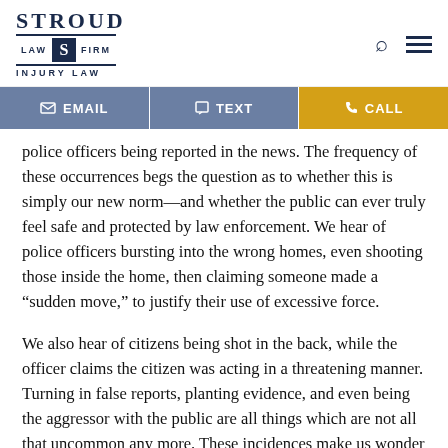[Figure (logo): Stroud Law Firm Injury Law logo with navy text and emblem]
EMAIL  TEXT  CALL
police officers being reported in the news. The frequency of these occurrences begs the question as to whether this is simply our new norm—and whether the public can ever truly feel safe and protected by law enforcement. We hear of police officers bursting into the wrong homes, even shooting those inside the home, then claiming someone made a “sudden move,” to justify their use of excessive force.
We also hear of citizens being shot in the back, while the officer claims the citizen was acting in a threatening manner. Turning in false reports, planting evidence, and even being the aggressor with the public are all things which are not all that uncommon any more. These incidences make us wonder why more and more police officers appear to have abusive personalities. Is it